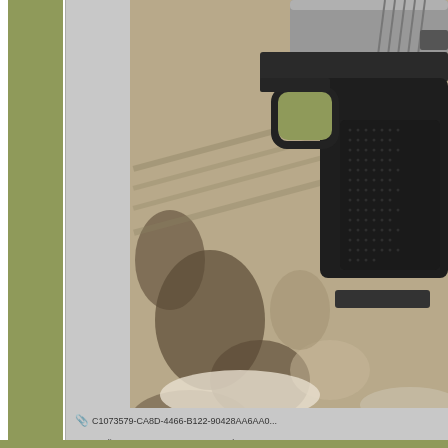[Figure (photo): Close-up photograph of a semi-automatic pistol (black frame with textured grip, silver/stainless slide) resting on a camouflage-patterned fabric surface. The image is cropped showing the right side of the grip and slide.]
C1073579-CA8D-4466-B122-90428AA6AAD... 640x400 - viewed 241 times.)
« Last Edit: May 29, 2021, 05:24:05 PM by scot...